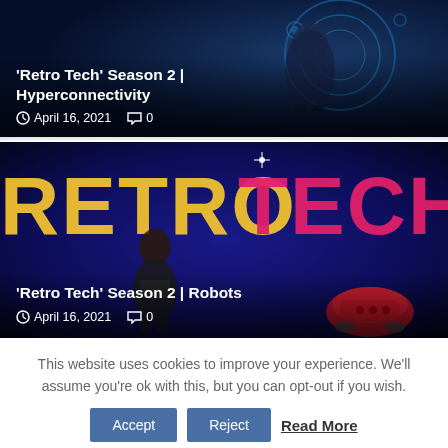[Figure (photo): Dark blue themed card with 'Retro Tech' Season 2 Hyperconnectivity article preview. Shows a person against a sci-fi dark blue background with circular tech elements.]
'Retro Tech' Season 2 | Hyperconnectivity
April 16, 2021   0
[Figure (photo): Dark blue/purple themed card showing 'RETRO TECH' text in large letters (RETRO in yellow, TECH in pink/red), with a person standing in front and a red robot/vacuum in the lower right.]
'Retro Tech' Season 2 | Robots
April 16, 2021   0
This website uses cookies to improve your experience. We'll assume you're ok with this, but you can opt-out if you wish.